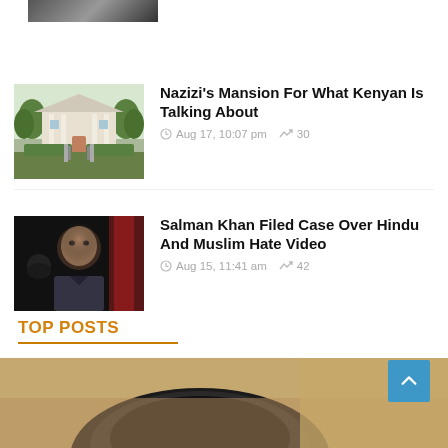[Figure (photo): Partially visible cropped photo at top of page]
[Figure (photo): Mansion with white pillars and grounds]
Nazizi's Mansion For What Kenyan Is Talking About
Aug 17, 10:07 pm  30
[Figure (photo): Man in dark shirt, low-light photo]
Salman Khan Filed Case Over Hindu And Muslim Hate Video
Aug 15, 11:41 am  42
TOP POSTS
[Figure (photo): Bottom image strip, partially visible]